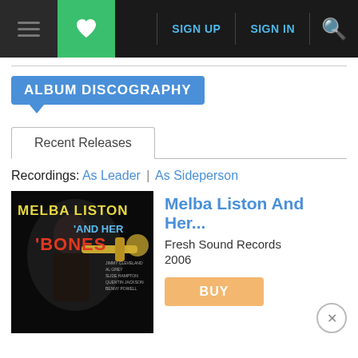SIGN UP | SIGN IN
ALBUM DISCOGRAPHY
Recent Releases
Recordings: As Leader | As Sideperson
[Figure (photo): Album cover for Melba Liston And Her 'Bones on Fresh Sound Records, featuring Melba Liston playing trombone. Yellow and orange text on dark background.]
Melba Liston And Her...
Fresh Sound Records
2006